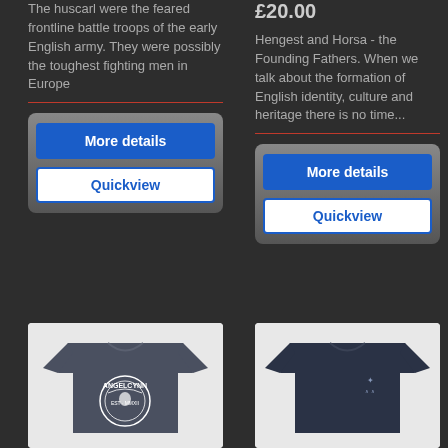The huscarl were the feared frontline battle troops of the early English army. They were possibly the toughest fighting men in Europe
More details
Quickview
£20.00
Hengest and Horsa - the Founding Fathers. When we talk about the formation of English identity, culture and heritage there is no time...
More details
Quickview
[Figure (photo): Dark grey t-shirt with ANGELCYNN circular logo print]
[Figure (photo): Navy blue t-shirt with small embroidered logo]